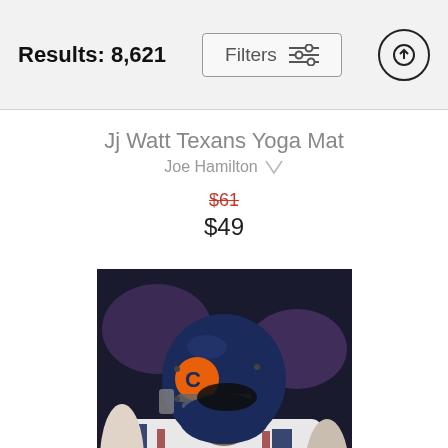Results: 8,621
Jj Watt Texans Yoga Mat
Joe Hamilton
$61 $49
[Figure (photo): A painted artwork of a Chicago Bears football player wearing a navy blue helmet with the Bears logo and white jersey with number 4, shown from the chest up, in a stylized artistic rendering.]